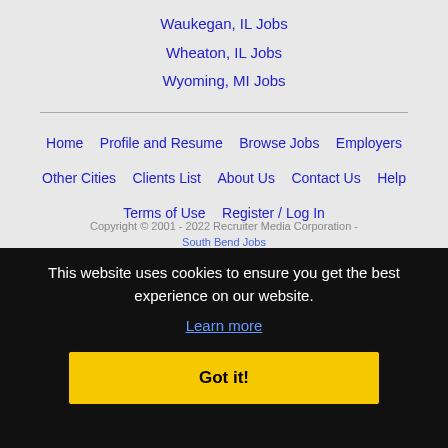Waukegan, IL Jobs
Wheaton, IL Jobs
Wyoming, MI Jobs
Home  Profile and Resume  Browse Jobs  Employers  Other Cities  Clients List  About Us  Contact Us  Help  Terms of Use  Register / Log In
Copyright © 2001 - 2022 Recruiter Media Corporation - South Bend Jobs
This website uses cookies to ensure you get the best experience on our website. Learn more
Got it!